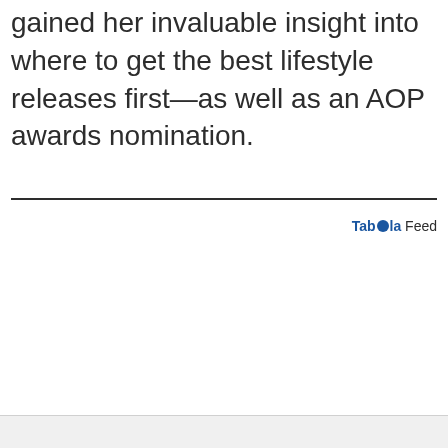gained her invaluable insight into where to get the best lifestyle releases first—as well as an AOP awards nomination.
Tab●ola Feed